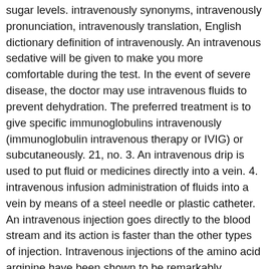sugar levels. intravenously synonyms, intravenously pronunciation, intravenously translation, English dictionary definition of intravenously. An intravenous sedative will be given to make you more comfortable during the test. In the event of severe disease, the doctor may use intravenous fluids to prevent dehydration. The preferred treatment is to give specific immunoglobulins intravenously (immunoglobulin intravenous therapy or IVIG) or subcutaneously. 21, no. 3. An intravenous drip is used to put fluid or medicines directly into a vein. 4. intravenous infusion administration of fluids into a vein by means of a steel needle or plastic catheter. An intravenous injection goes directly to the blood stream and its action is faster than the other types of injection. Intravenous injections of the amino acid arginine have been shown to be remarkably effective at improving intermittent claudication. If required the patient should be given intravenous N-acetylcysteine, in line with the established dosage schedule. Many children express a preference for intravenous anesthetic induction. IV definition is - an apparatus used to administer a fluid (as of medication,